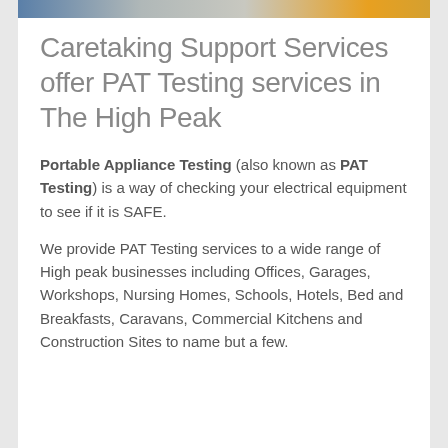[Figure (photo): Partial image strip at top of page showing a person and colored background elements]
Caretaking Support Services offer PAT Testing services in The High Peak
Portable Appliance Testing (also known as PAT Testing) is a way of checking your electrical equipment to see if it is SAFE.
We provide PAT Testing services to a wide range of High peak businesses including Offices, Garages, Workshops, Nursing Homes, Schools, Hotels, Bed and Breakfasts, Caravans, Commercial Kitchens and Construction Sites to name but a few.